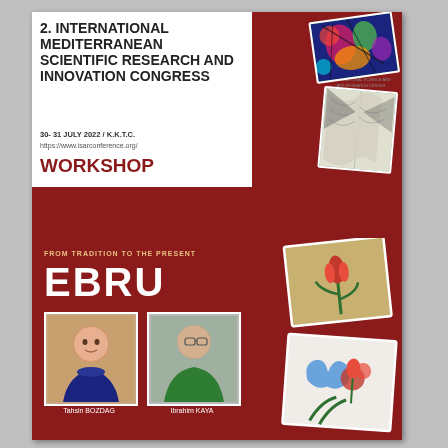2. INTERNATIONAL MEDITERRANEAN SCIENTIFIC RESEARCH AND INNOVATION CONGRESS
30- 31 JULY 2022 / K.K.T.C.
https://www.isarconference.org/
WORKSHOP
[Figure (photo): ISAR organization logo - circular emblem with text]
[Figure (photo): Collage of three art photos: colorful abstract painting, folded book art, and tulip/flower ebru painting]
FROM TRADITION TO THE PRESENT
EBRU
[Figure (photo): Portrait photo of Tahsin BOZDAG]
Tahsin BOZDAG
[Figure (photo): Portrait photo of Ibrahim KAYA]
Ibrahim KAYA
[Figure (photo): Ebru art photos showing floral and marbling patterns on the right side]